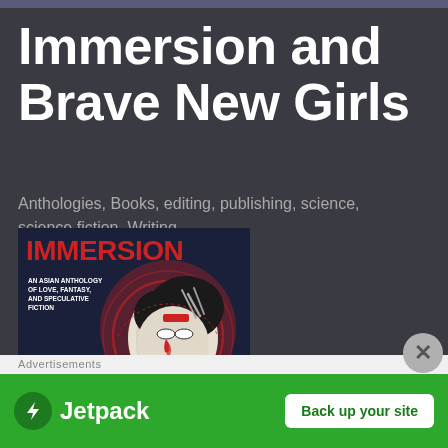Immersion and Brave New Girls
Anthologies, Books, editing, publishing, science, science fiction, Writing
[Figure (illustration): Book cover for IMMERSION: AN ASIAN ANTHOLOGY OF LOVE, FANTASY, AND SPECULATIVE FICTION. Features large red text 'IMMERSION' at top on dark background, with an illustrated female face in a cyberpunk/anime style with dark hair, white face and red teardrops, wearing a red collar, with needle-like objects in her hair. Set on a dark navy background with circular design elements.]
[Figure (other): Jetpack advertisement banner with green background. Features Jetpack logo (lightning bolt in circle) on left, 'Jetpack' text, and a white 'Back up your site' button on the right. Circular X/close button in upper right corner of the viewport.]